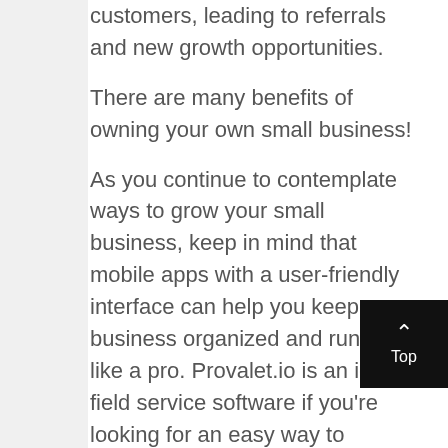customers, leading to referrals and new growth opportunities.
There are many benefits of owning your own small business!
As you continue to contemplate ways to grow your small business, keep in mind that mobile apps with a user-friendly interface can help you keep your business organized and running like a pro. Provalet.io is an ideal field service software if you're looking for an easy way to organize all your data, customer information, invoices, billing records, inventory reports and more! With this